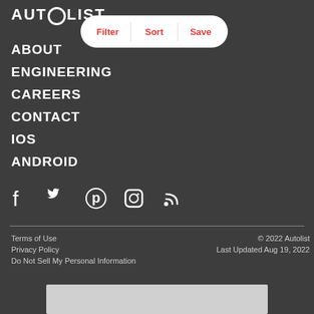[Figure (logo): Autolist logo in white text on dark background]
[Figure (screenshot): Filter / Sort / Save pill navigation bar with red text on white rounded rectangle]
ABOUT
ENGINEERING
CAREERS
CONTACT
iOS
ANDROID
[Figure (infographic): Social media icons: Facebook, Twitter, Pinterest, Instagram, RSS]
Terms of Use
Privacy Policy
Do Not Sell My Personal Information
© 2022 Autolist
Last Updated Aug 19, 2022